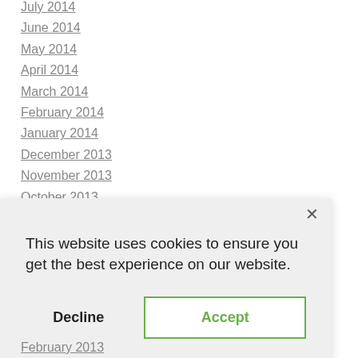July 2014
June 2014
May 2014
April 2014
March 2014
February 2014
January 2014
December 2013
November 2013
October 2013
[Figure (screenshot): Cookie consent dialog with 'This website uses cookies to ensure you get the best experience on our website.' text, Decline button, and Accept button with green border]
February 2013